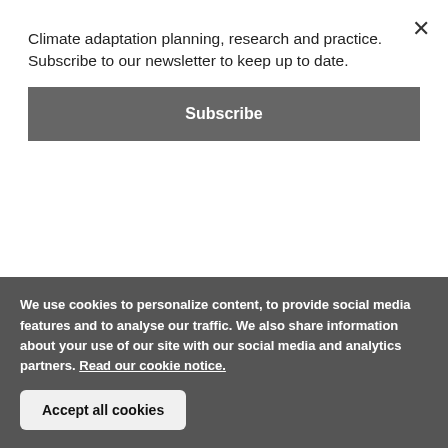Climate adaptation planning, research and practice. Subscribe to our newsletter to keep up to date.
Subscribe
scarcity and changes in rainfall patterns as well as greater CO2 concentrations in the atmosph
Explore Theme
▶ Featured Download
We use cookies to personalize content, to provide social media features and to analyse our traffic. We also share information about your use of our site with our social media and analytics partners. Read our cookie notice.
Accept all cookies